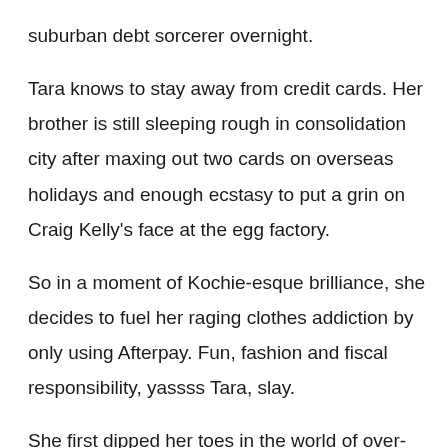suburban debt sorcerer overnight.
Tara knows to stay away from credit cards. Her brother is still sleeping rough in consolidation city after maxing out two cards on overseas holidays and enough ecstasy to put a grin on Craig Kelly's face at the egg factory.
So in a moment of Kochie-esque brilliance, she decides to fuel her raging clothes addiction by only using Afterpay. Fun, fashion and fiscal responsibility, yassss Tara, slay.
She first dipped her toes in the world of over-extension with a totes cute $300 The North Face puffy vest from The